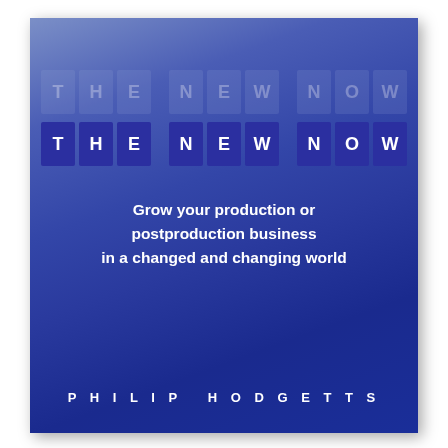[Figure (illustration): Book cover for 'The New Now' by Philip Hodgetts. Blue gradient background with a decorative element of individual letter tiles spelling 'THE NEW NOW' in two rows — a faded ghost row above and a solid dark-blue tile row below. Subtitle reads 'Grow your production or postproduction business in a changed and changing world'. Author name 'PHILIP HODGETTS' at the bottom in spaced capital letters.]